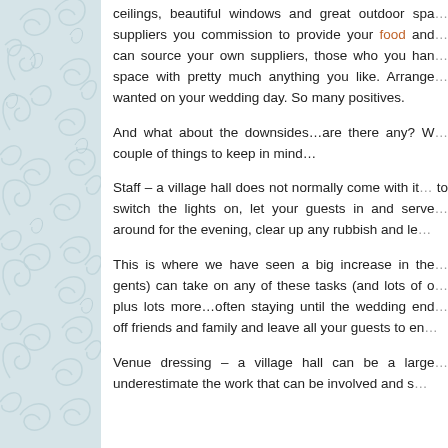[Figure (illustration): Decorative left panel with light blue-grey background and swirling floral/scroll pattern in slightly darker grey tones.]
ceilings, beautiful windows and great outdoor spa... suppliers you commission to provide your food and... can source your own suppliers, those who you han... space with pretty much anything you like. Arrange... wanted on your wedding day. So many positives.

And what about the downsides…are there any? W... couple of things to keep in mind…

Staff – a village hall does not normally come with it... to switch the lights on, let your guests in and serve... around for the evening, clear up any rubbish and le...

This is where we have seen a big increase in the... gents) can take on any of these tasks (and lots of o... plus lots more…often staying until the wedding end... off friends and family and leave all your guests to en...

Venue dressing – a village hall can be a large... underestimate the work that can be involved and s...